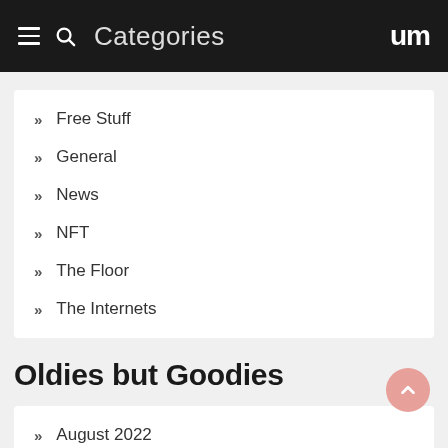Categories
Free Stuff
General
News
NFT
The Floor
The Internets
Oldies but Goodies
August 2022
July 2022
June 2022
May 2022
April 2022